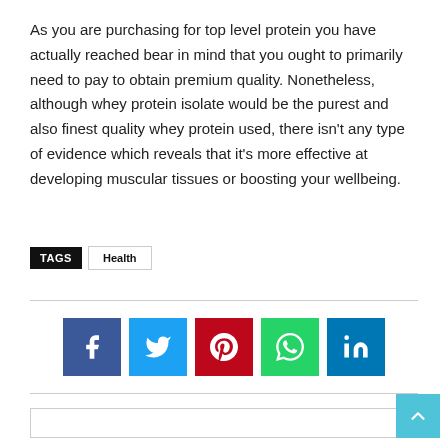As you are purchasing for top level protein you have actually reached bear in mind that you ought to primarily need to pay to obtain premium quality. Nonetheless, although whey protein isolate would be the purest and also finest quality whey protein used, there isn't any type of evidence which reveals that it's more effective at developing muscular tissues or boosting your wellbeing.
TAGS   Health
[Figure (infographic): Social sharing buttons: Facebook (blue), Twitter (light blue), Pinterest (red), WhatsApp (green), LinkedIn (dark blue)]